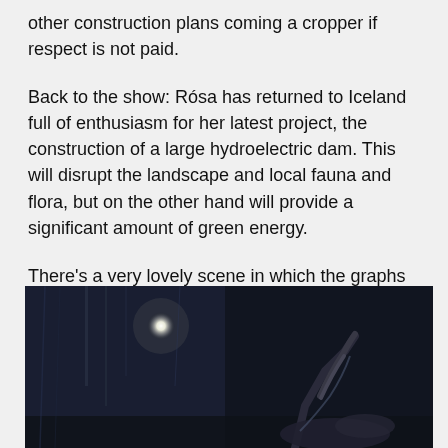other construction plans coming a cropper if respect is not paid.
Back to the show: Rósa has returned to Iceland full of enthusiasm for her latest project, the construction of a large hydroelectric dam. This will disrupt the landscape and local fauna and flora, but on the other hand will provide a significant amount of green energy.
There's a very lovely scene in which the graphs and blueprints and calculations of Rosa's plans play out in a shifting medley of projected images whilst she sits to the side of the stage at her desk, eventually arising to interact with the projected imagery, twisting and turning and tumbling as she calculates her way forward.
[Figure (photo): Dark stage photograph showing a performer reaching upward with one arm, with a bright spotlight visible in the background against a dark blue-black stage setting.]